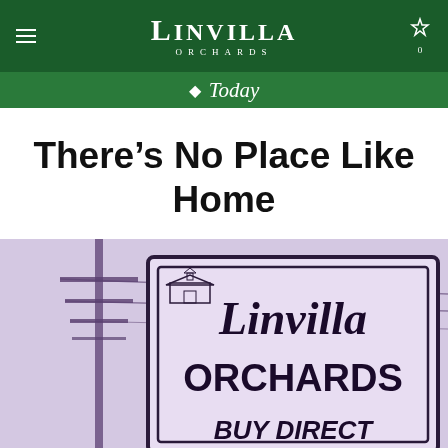Linvilla Orchards
Today
There’s No Place Like Home
[Figure (photo): Vintage purple-toned photograph of a Linvilla Orchards road sign reading 'Linvilla ORCHARDS BUY DIRECT' with a utility pole on the left side]